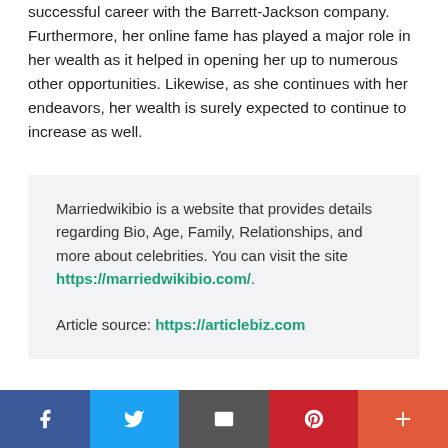successful career with the Barrett-Jackson company. Furthermore, her online fame has played a major role in her wealth as it helped in opening her up to numerous other opportunities. Likewise, as she continues with her endeavors, her wealth is surely expected to continue to increase as well.
Marriedwikibio is a website that provides details regarding Bio, Age, Family, Relationships, and more about celebrities. You can visit the site https://marriedwikibio.com/.

Article source: https://articlebiz.com
This article has been viewed 833 times.